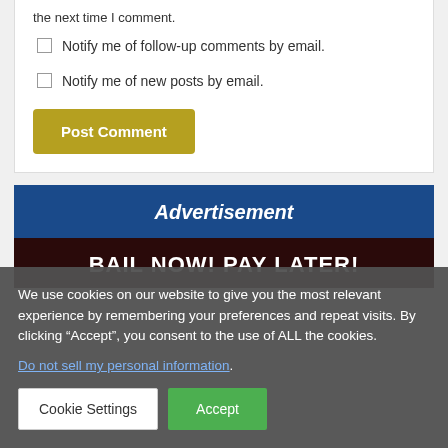the next time I comment.
Notify me of follow-up comments by email.
Notify me of new posts by email.
Post Comment
[Figure (infographic): Advertisement banner with dark blue header reading 'Advertisement' and dark red/maroon body with text 'BAIL NOW! PAY LATER!']
We use cookies on our website to give you the most relevant experience by remembering your preferences and repeat visits. By clicking “Accept”, you consent to the use of ALL the cookies.
Do not sell my personal information.
Cookie Settings
Accept